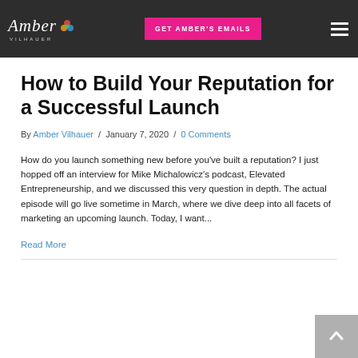Amber Vilhauer — GET AMBER'S EMAILS
How to Build Your Reputation for a Successful Launch
By Amber Vilhauer / January 7, 2020 / 0 Comments
How do you launch something new before you've built a reputation? I just hopped off an interview for Mike Michalowicz's podcast, Elevated Entrepreneurship, and we discussed this very question in depth. The actual episode will go live sometime in March, where we dive deep into all facets of marketing an upcoming launch. Today, I want...
Read More